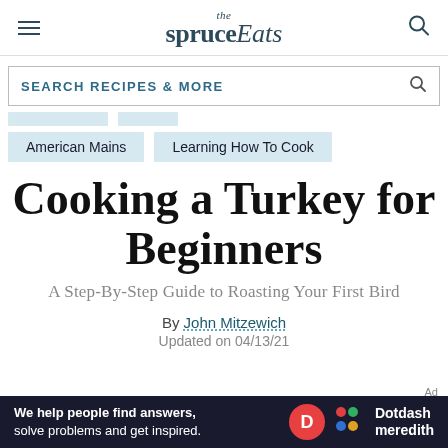the spruce Eats
SEARCH RECIPES & MORE
American Mains   Learning How To Cook
Cooking a Turkey for Beginners
A Step-By-Step Guide to Roasting Your First Bird
By John Mitzewich
Updated on 04/13/21
We help people find answers, solve problems and get inspired. Dotdash meredith